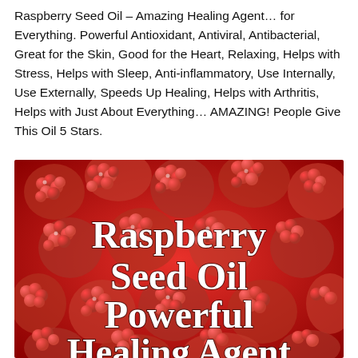Raspberry Seed Oil – Amazing Healing Agent… for Everything. Powerful Antioxidant, Antiviral, Antibacterial, Great for the Skin, Good for the Heart, Relaxing, Helps with Stress, Helps with Sleep, Anti-inflammatory, Use Internally, Use Externally, Speeds Up Healing, Helps with Arthritis, Helps with Just About Everything… AMAZING! People Give This Oil 5 Stars.
[Figure (photo): Close-up photo of bright red raspberries filling the frame, with large white bold serif text overlay reading 'Raspberry Seed Oil Powerful Healing Agent']